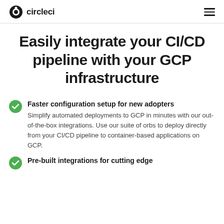circleci
Easily integrate your CI/CD pipeline with your GCP infrastructure
Faster configuration setup for new adopters
Simplify automated deployments to GCP in minutes with our out-of-the-box integrations. Use our suite of orbs to deploy directly from your CI/CD pipeline to container-based applications on GCP.
Pre-built integrations for cutting edge